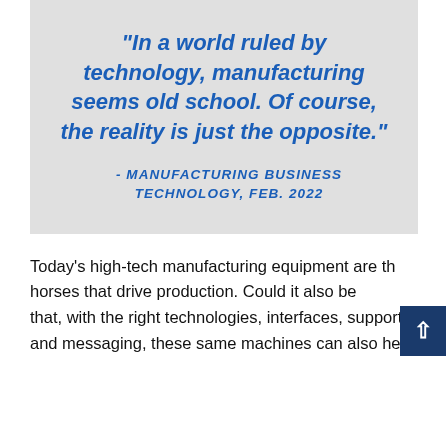"In a world ruled by technology, manufacturing seems old school. Of course, the reality is just the opposite."
- MANUFACTURING BUSINESS TECHNOLOGY, FEB. 2022
Today's high-tech manufacturing equipment are the horses that drive production. Could it also be that, with the right technologies, interfaces, support, and messaging, these same machines can also help